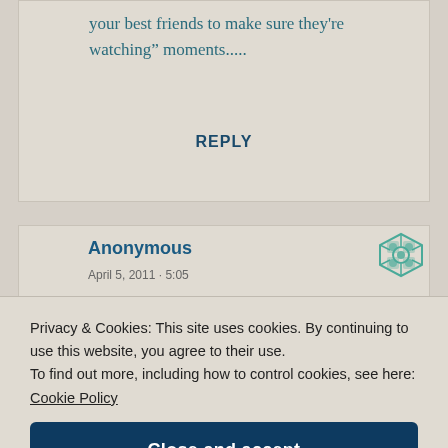your best friends to make sure they're watching” moments.....
REPLY
Anonymous
April 5, 2011 · 5:05
Privacy & Cookies: This site uses cookies. By continuing to use this website, you agree to their use. To find out more, including how to control cookies, see here: Cookie Policy
Close and accept